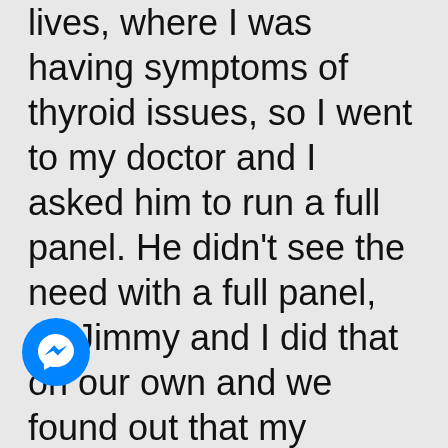lives, where I was having symptoms of thyroid issues, so I went to my doctor and I asked him to run a full panel. He didn't see the need with a full panel, so Jimmy and I did that on our own and we found out that my reverse T4 was off and my antibodies were elevated. These things wouldn't have been found out had they just run the
[Figure (logo): Facebook Messenger icon — blue circle with white lightning bolt chat bubble]